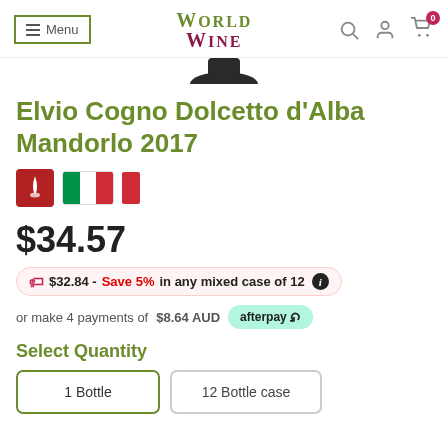Menu | World Wine | Search, Account, Cart (0)
[Figure (illustration): Bottom of a dark wine bottle visible at top of page]
Elvio Cogno Dolcetto d'Alba Mandorlo 2017
[Figure (infographic): Wine glass icon (red background) and Italian flag icons]
$34.57
$32.84 - Save 5% in any mixed case of 12 ℹ
or make 4 payments of $8.64 AUD afterpay
Select Quantity
1 Bottle | 12 Bottle case